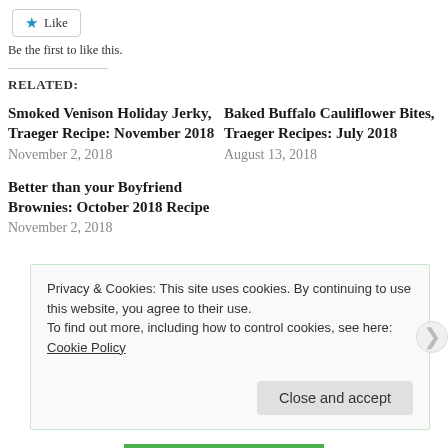[Figure (other): Like button with star icon]
Be the first to like this.
RELATED:
Smoked Venison Holiday Jerky, Traeger Recipe: November 2018
November 2, 2018
Baked Buffalo Cauliflower Bites, Traeger Recipes: July 2018
August 13, 2018
Better than your Boyfriend Brownies: October 2018 Recipe
November 2, 2018
Privacy & Cookies: This site uses cookies. By continuing to use this website, you agree to their use.
To find out more, including how to control cookies, see here: Cookie Policy
Close and accept